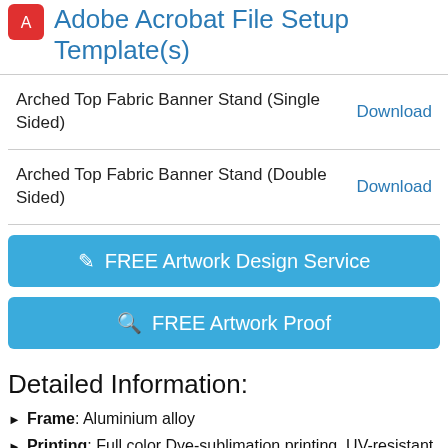Adobe Acrobat File Setup Template(s)
| Template | Action |
| --- | --- |
| Arched Top Fabric Banner Stand (Single Sided) | Download |
| Arched Top Fabric Banner Stand (Double Sided) | Download |
FREE Artwork Design Service
FREE Artwork Proof
Detailed Information:
Frame: Aluminium alloy
Printing: Full color Dye-sublimation printing, UV-resistant inks